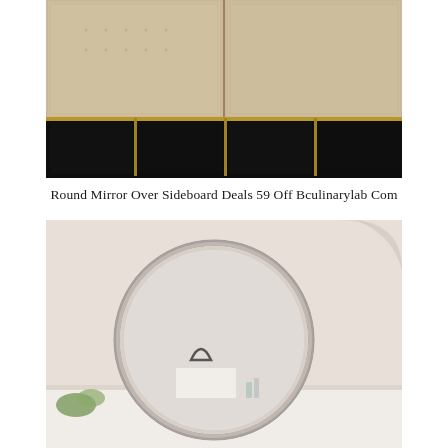[Figure (photo): Interior photo of a sideboard or cabinet with textured beige/cream panel doors and a dark background with gold/brass frame accents below.]
Round Mirror Over Sideboard Deals 59 Off Bculinarylab Com
[Figure (photo): Interior photo of a large round mirror with a thin silver/chrome frame hanging on a pale wall, reflecting decorative items and a white surface below. A partial curved white object is visible in the upper right corner.]